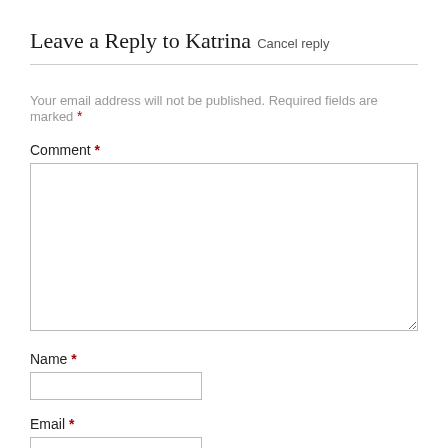Leave a Reply to Katrina Cancel reply
Your email address will not be published. Required fields are marked *
Comment *
[Figure (other): Comment textarea input field]
Name *
[Figure (other): Name text input field]
Email *
[Figure (other): Email text input field]